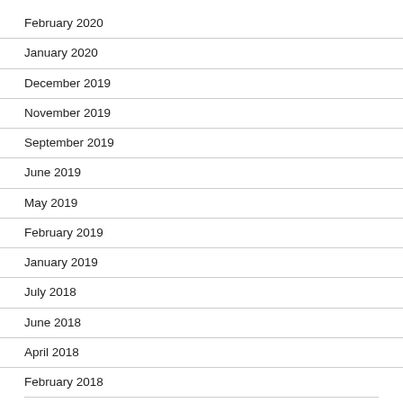February 2020
January 2020
December 2019
November 2019
September 2019
June 2019
May 2019
February 2019
January 2019
July 2018
June 2018
April 2018
February 2018